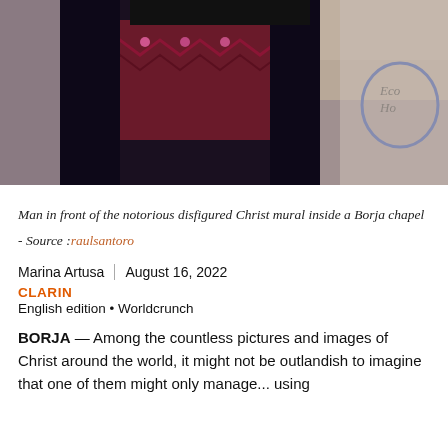[Figure (photo): Man in dark jacket and patterned maroon sweater standing in front of a stone wall inside a Borja chapel. A circular sign partially visible on the right.]
Man in front of the notorious disfigured Christ mural inside a Borja chapel
- Source :raulsantoro
Marina Artusa | August 16, 2022
CLARIN
English edition • Worldcrunch
BORJA — Among the countless pictures and images of Christ around the world, it might not be outlandish to imagine that one of them might only manage ... using